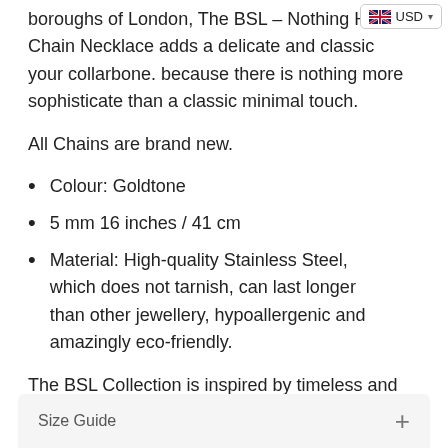boroughs of London, The BSL – Nothing Hill Chain Necklace adds a delicate and classic your collarbone. because there is nothing more sophisticate than a classic minimal touch.
All Chains are brand new.
Colour: Goldtone
5 mm 16 inches / 41 cm
Material: High-quality Stainless Steel, which does not tarnish, can last longer than other jewellery, hypoallergenic and amazingly eco-friendly.
The BSL Collection is inspired by timeless and essentials pieces with a pinch of modernist and audacity.
Size Guide